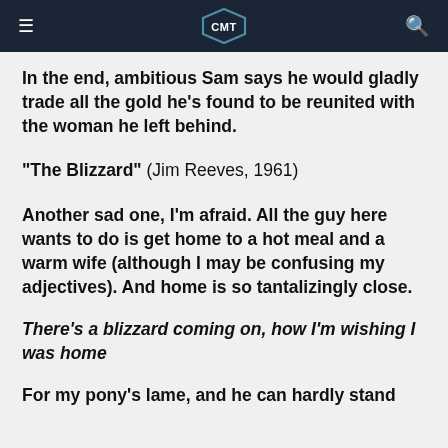CMT
In the end, ambitious Sam says he would gladly trade all the gold he's found to be reunited with the woman he left behind.
"The Blizzard" (Jim Reeves, 1961)
Another sad one, I'm afraid. All the guy here wants to do is get home to a hot meal and a warm wife (although I may be confusing my adjectives). And home is so tantalizingly close.
There's a blizzard coming on, how I'm wishing I was home
For my pony's lame, and he can hardly stand